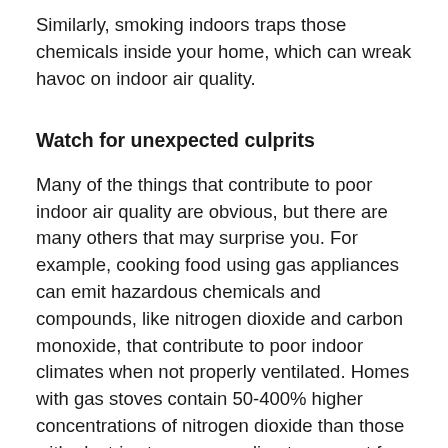Similarly, smoking indoors traps those chemicals inside your home, which can wreak havoc on indoor air quality.
Watch for unexpected culprits
Many of the things that contribute to poor indoor air quality are obvious, but there are many others that may surprise you. For example, cooking food using gas appliances can emit hazardous chemicals and compounds, like nitrogen dioxide and carbon monoxide, that contribute to poor indoor climates when not properly ventilated. Homes with gas stoves contain 50-400% higher concentrations of nitrogen dioxide than those with electric stoves, according to a report from the Rocky Mountain